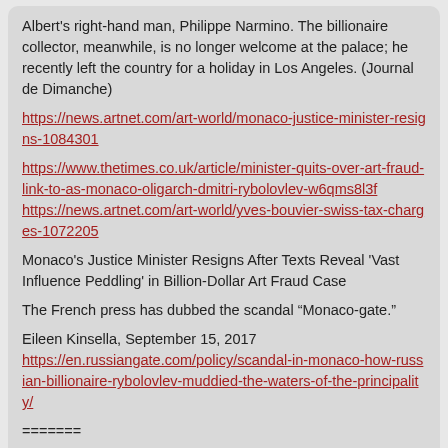Albert's right-hand man, Philippe Narmino. The billionaire collector, meanwhile, is no longer welcome at the palace; he recently left the country for a holiday in Los Angeles. (Journal de Dimanche)
https://news.artnet.com/art-world/monaco-justice-minister-resigns-1084301
https://www.thetimes.co.uk/article/minister-quits-over-art-fraud-link-to-as-monaco-oligarch-dmitri-rybolovlev-w6qms8l3f
https://news.artnet.com/art-world/yves-bouvier-swiss-tax-charges-1072205
Monaco's Justice Minister Resigns After Texts Reveal 'Vast Influence Peddling' in Billion-Dollar Art Fraud Case
The French press has dubbed the scandal “Monaco-gate.”
Eileen Kinsella, September 15, 2017
https://en.russiangate.com/policy/scandal-in-monaco-how-russian-billionaire-rybolovlev-muddied-the-waters-of-the-principality/
=======
http://www.mypalmbeachpost.com/news/national-govt-...
#172  Hamilton  on 11.02.17 at 2:28 pm